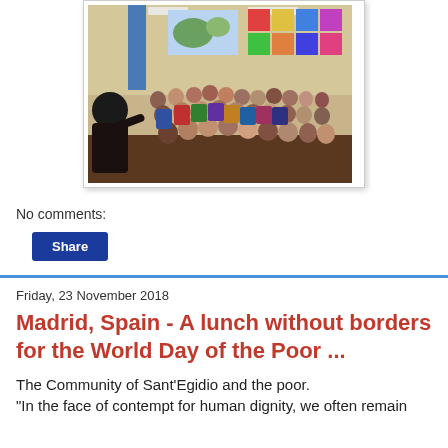[Figure (photo): A large group of children seated in a colorful classroom, facing a presenter standing at the front with their back to the camera. Colorful artwork and maps decorate the walls.]
No comments:
Share
Friday, 23 November 2018
Madrid, Spain - A lunch without borders for the World Day of the Poor ...
The Community of Sant'Egidio and the poor.
"In the face of contempt for human dignity, we often remain